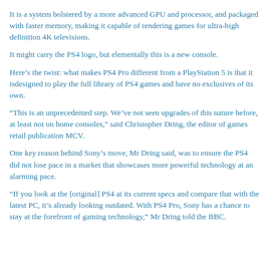It is a system bolstered by a more advanced GPU and processor, and packaged with faster memory, making it capable of rendering games for ultra-high definition 4K televisions.
It might carry the PS4 logo, but elementally this is a new console.
Here’s the twist: what makes PS4 Pro different from a PlayStation 5 is that it isdesigned to play the full library of PS4 games and have no exclusives of its own.
“This is an unprecedented step. We’ve not seen upgrades of this nature before, at least not on home consoles,” said Christopher Dring, the editor of games retail publication MCV.
One key reason behind Sony’s move, Mr Dring said, was to ensure the PS4 did not lose pace in a market that showcases more powerful technology at an alarming pace.
“If you look at the [original] PS4 at its current specs and compare that with the latest PC, it’s already looking outdated. With PS4 Pro, Sony has a chance to stay at the forefront of gaming technology,” Mr Dring told the BBC.